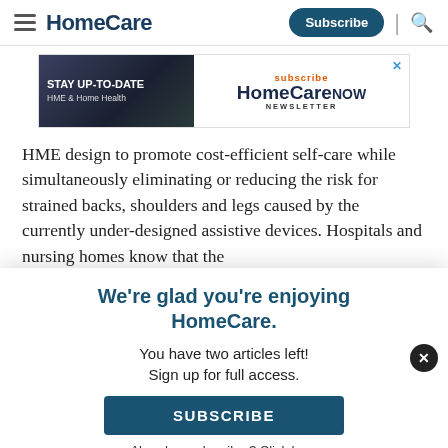HomeCare — Subscribe | Search
[Figure (other): HomeCare NOW newsletter subscription advertisement banner with text: STAY UP-TO-DATE HME & Home Health, subscribe HomeCare NOW NEWSLETTER]
HME design to promote cost-efficient self-care while simultaneously eliminating or reducing the risk for strained backs, shoulders and legs caused by the currently under-designed assistive devices. Hospitals and nursing homes know that the
We're glad you're enjoying HomeCare.
You have two articles left!
Sign up for full access.
SUBSCRIBE
Already a subscriber? Click here